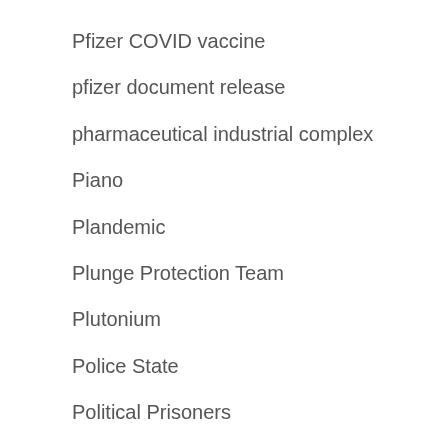Pfizer COVID vaccine
pfizer document release
pharmaceutical industrial complex
Piano
Plandemic
Plunge Protection Team
Plutonium
Police State
Political Prisoners
Politics
Posthumanism
pre-crime enforcement
Presentism
President Donald J Trump
President Nixon
Presidential Election
Presidential Electors
Prince Vladimir Meschersky
Propaganda
Provincetown